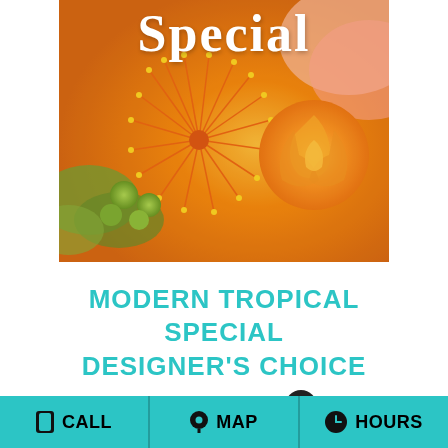[Figure (photo): Close-up photo of tropical orange flowers including a protea/leucospermum with striking orange stamen filaments, orange ranunculus roses, and green berries/buds against a warm orange floral background. White cursive text 'Special' overlays the top of the image.]
MODERN TROPICAL SPECIAL DESIGNER'S CHOICE
Shown at $80.00
CALL  MAP  HOURS